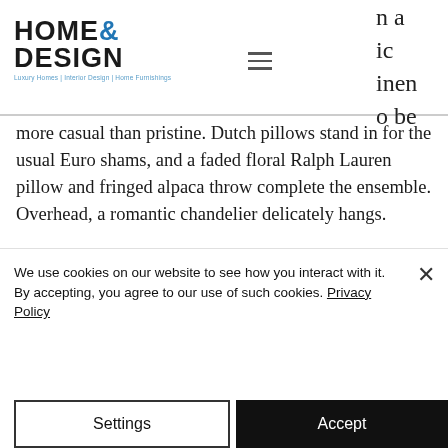HOME & DESIGN — Luxury Homes | Interior Design | Home Furnishings
n a ic inen o be more casual than pristine. Dutch pillows stand in for the usual Euro shams, and a faded floral Ralph Lauren pillow and fringed alpaca throw complete the ensemble. Overhead, a romantic chandelier delicately hangs.
[Figure (photo): Close-up photo of light gray/silver fabric or textile with soft folds and sheen]
We use cookies on our website to see how you interact with it. By accepting, you agree to our use of such cookies. Privacy Policy